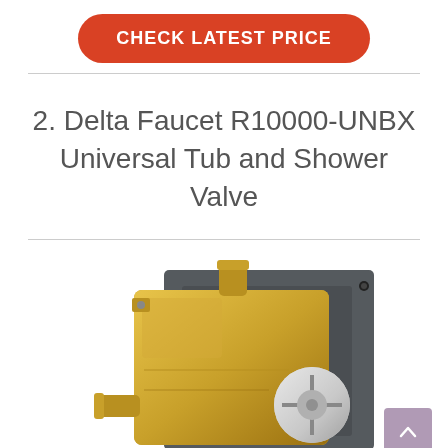CHECK LATEST PRICE
2. Delta Faucet R10000-UNBX Universal Tub and Shower Valve
[Figure (photo): Photo of Delta Faucet R10000-UNBX Universal Tub and Shower Valve, a gold-colored brass valve body with a dark gray mounting bracket, featuring inlet/outlet connections and a circular cartridge port visible on the front right.]